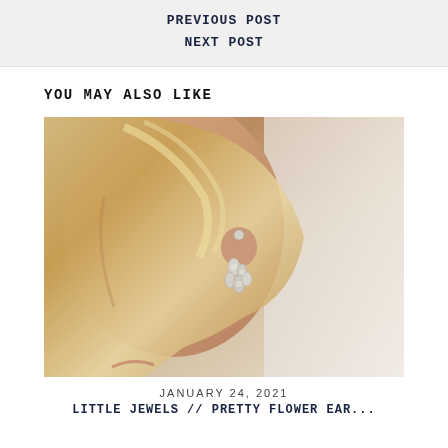PREVIOUS POST
NEXT POST
YOU MAY ALSO LIKE
[Figure (photo): Close-up portrait of a woman with blonde wavy hair wearing an ornate silver flower cluster drop earring, shown from the side/profile near her ear.]
JANUARY 24, 2021
LITTLE JEWELS // PRETTY FLOWER EAR...